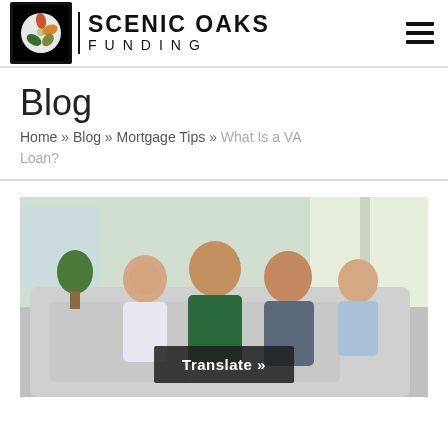[Figure (logo): Scenic Oaks Funding logo with leaf icon and company name]
Blog
Home » Blog » Mortgage Tips » What Is a VA Loan?
[Figure (photo): Happy family of four (father, mother, son, daughter) sitting on a couch smiling. Military family photo used for VA Loan article.]
Translate »